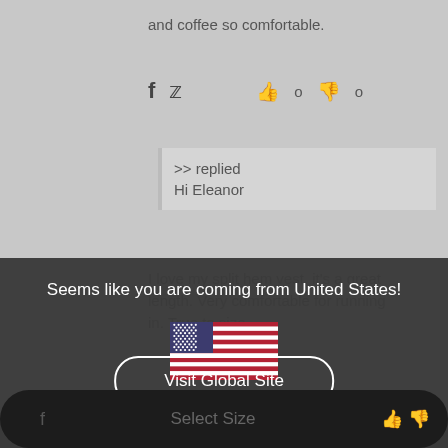and coffee so comfortable.
>> replied
Hi Eleanor
Seems like you are coming from United States!
[Figure (illustration): United States flag]
Visit Global Site
Continue Shopping
I love my split hem vest. it's a great length. Very comfortable for running in. True to size.
Select Size